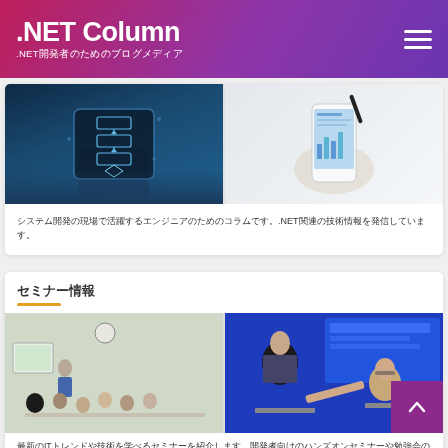.NET Column .NET開発者のためのブログメディア
[Figure (photo): Left: Person holding a digital tablet with flowchart/diagram overlay. Right: Hand holding smartphone with analytics display.]
システム開発の現場で活躍するエンジニアのためのコラムです。.NET関連の技術情報を発信しています。
セミナー情報
[Figure (photo): Left: Seminar room with presenter and audience. Right: Students working at computers in a classroom with blue screen.]
最新のITトレンドや技術を学べるセミナーを紹介します。開発者向けのハンズオンセミナーや勉強会の情報をお届けします。